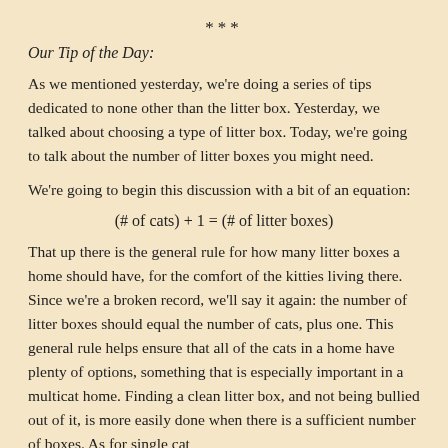***
Our Tip of the Day:
As we mentioned yesterday, we're doing a series of tips dedicated to none other than the litter box. Yesterday, we talked about choosing a type of litter box. Today, we're going to talk about the number of litter boxes you might need.
We're going to begin this discussion with a bit of an equation:
That up there is the general rule for how many litter boxes a home should have, for the comfort of the kitties living there. Since we're a broken record, we'll say it again: the number of litter boxes should equal the number of cats, plus one. This general rule helps ensure that all of the cats in a home have plenty of options, something that is especially important in a multicat home. Finding a clean litter box, and not being bullied out of it, is more easily done when there is a sufficient number of boxes. As for single cat